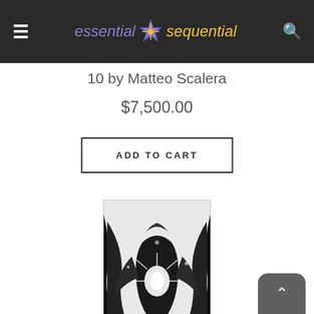essential sequential
10 by Matteo Scalera
$7,500.00
ADD TO CART
[Figure (illustration): Black and white comic book cover art showing a dark winged creature with dramatic action scene]